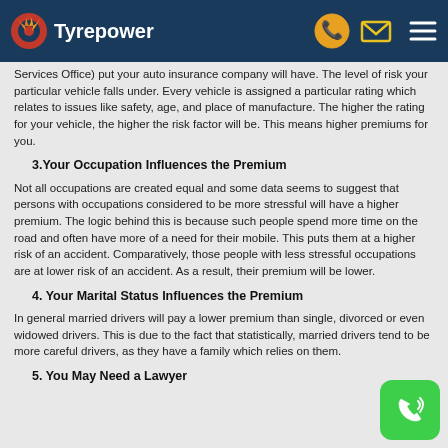Tyrepower (logo header bar)
Services Office) put your auto insurance company will have. The level of risk your particular vehicle falls under. Every vehicle is assigned a particular rating which relates to issues like safety, age, and place of manufacture. The higher the rating for your vehicle, the higher the risk factor will be. This means higher premiums for you.
3.Your Occupation Influences the Premium
Not all occupations are created equal and some data seems to suggest that persons with occupations considered to be more stressful will have a higher premium. The logic behind this is because such people spend more time on the road and often have more of a need for their mobile. This puts them at a higher risk of an accident. Comparatively, those people with less stressful occupations are at lower risk of an accident. As a result, their premium will be lower.
4. Your Marital Status Influences the Premium
In general married drivers will pay a lower premium than single, divorced or even widowed drivers. This is due to the fact that statistically, married drivers tend to be more careful drivers, as they have a family which relies on them.
5. You May Need a Lawyer